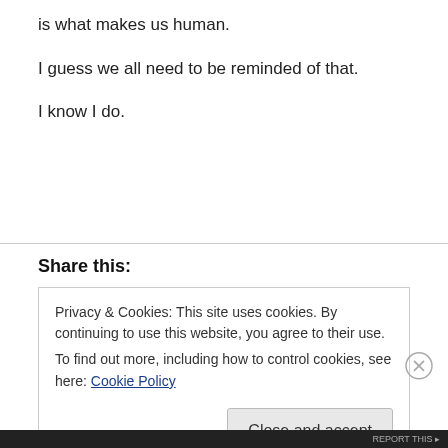is what makes us human.
I guess we all need to be reminded of that.
I know I do.
Share this:
Privacy & Cookies: This site uses cookies. By continuing to use this website, you agree to their use.
To find out more, including how to control cookies, see here: Cookie Policy
Close and accept